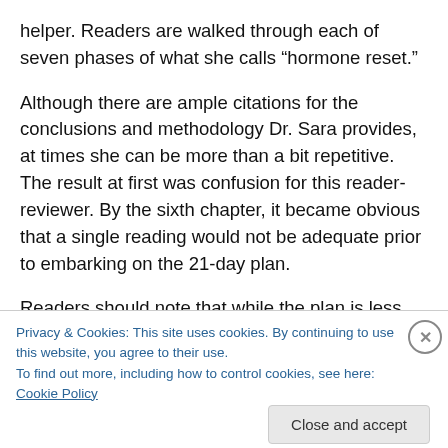helper. Readers are walked through each of seven phases of what she calls “hormone reset.”
Although there are ample citations for the conclusions and methodology Dr. Sara provides, at times she can be more than a bit repetitive. The result at first was confusion for this reader-reviewer. By the sixth chapter, it became obvious that a single reading would not be adequate prior to embarking on the 21-day plan.
Readers should note that while the plan is less costly than using a personalized plan developed by a diet doctor or
Privacy & Cookies: This site uses cookies. By continuing to use this website, you agree to their use.
To find out more, including how to control cookies, see here: Cookie Policy